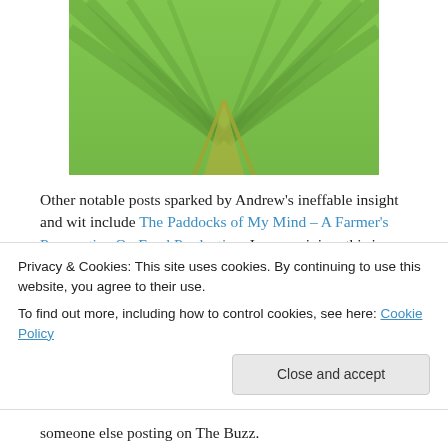[Figure (photo): Aerial or ground-level photo of green agricultural field with converging rows forming a V-shape pattern, Western District farmland]
Other notable posts sparked by Andrew's ineffable insight and wit include The Paddocks of My Mind – A Farmer's Perspective On Food Production. In my opinion, this is a beautiful piece, enhanced by some equally beautiful photos of the Western District's agricultural and scenic bounty.
– July 20 2013: The first contributor who wasn't me was someone else posting on The Buzz.
Privacy & Cookies: This site uses cookies. By continuing to use this website, you agree to their use. To find out more, including how to control cookies, see here: Cookie Policy
Close and accept